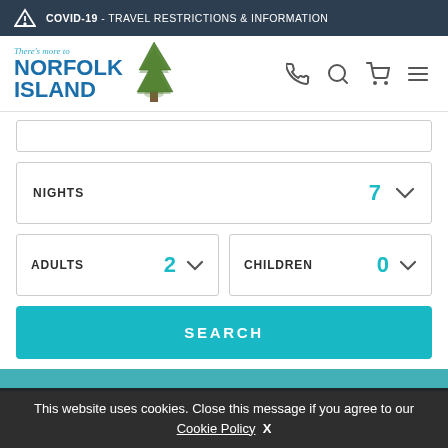⚠ COVID-19 - TRAVEL RESTRICTIONS & INFORMATION
[Figure (logo): There's more to Norfolk Island logo with pine tree illustration]
NIGHTS 7
ADULTS 2  CHILDREN 0
SEARCH
This website uses cookies. Close this message if you agree to our Cookie Policy  X